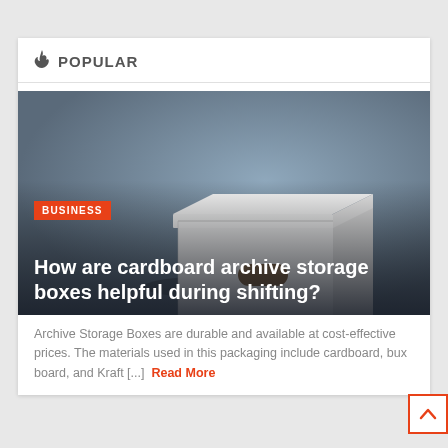🔥 POPULAR
[Figure (photo): A white cardboard archive storage box with lid and oval handle cutout, photographed against a blue-grey gradient background. Overlaid text includes a red BUSINESS tag and the article title.]
Archive Storage Boxes are durable and available at cost-effective prices. The materials used in this packaging include cardboard, bux board, and Kraft [...] Read More